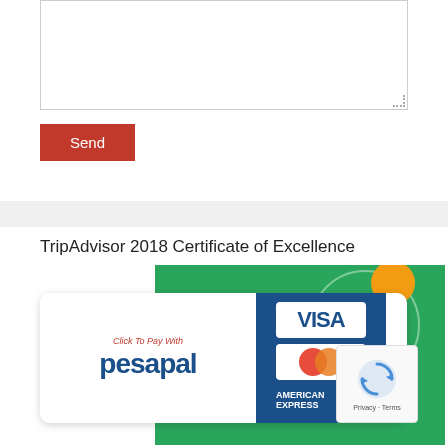[Figure (screenshot): A textarea input box with dotted resize handle at bottom right]
[Figure (screenshot): A red Send button]
TripAdvisor 2018 Certificate of Excellence
[Figure (illustration): TripAdvisor 2018 Certificate of Excellence green banner with owl icon and circular design]
[Figure (illustration): Pesapal payment widget showing Click To Pay With pesapal, VISA, Mastercard, and American Express cards]
[Figure (illustration): Google reCAPTCHA widget with Privacy and Terms text]